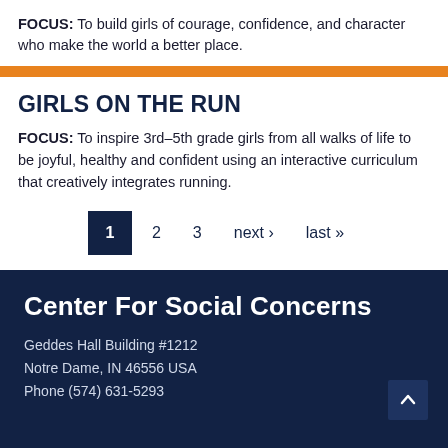FOCUS: To build girls of courage, confidence, and character who make the world a better place.
GIRLS ON THE RUN
FOCUS: To inspire 3rd–5th grade girls from all walks of life to be joyful, healthy and confident using an interactive curriculum that creatively integrates running.
1  2  3  next ›  last »
Center For Social Concerns
Geddes Hall Building #1212
Notre Dame, IN 46556 USA
Phone (574) 631-5293